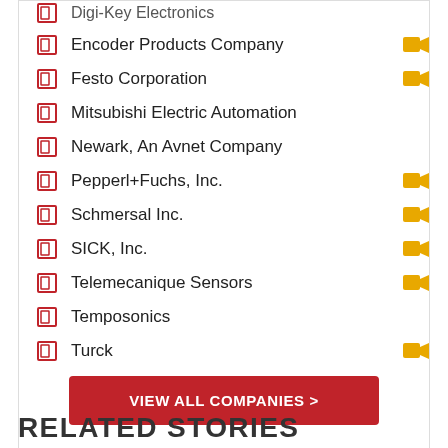Encoder Products Company
Festo Corporation
Mitsubishi Electric Automation
Newark, An Avnet Company
Pepperl+Fuchs, Inc.
Schmersal Inc.
SICK, Inc.
Telemecanique Sensors
Temposonics
Turck
VIEW ALL COMPANIES >
RELATED STORIES